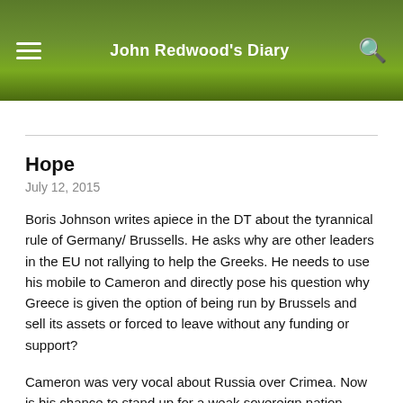John Redwood's Diary
Hope
July 12, 2015
Boris Johnson writes apiece in the DT about the tyrannical rule of Germany/ Brussells. He asks why are other leaders in the EU not rallying to help the Greeks. He needs to use his mobile to Cameron and directly pose his question why Greece is given the option of being run by Brussels and sell its assets or forced to leave without any funding or support?
Cameron was very vocal about Russia over Crimea. Now is his chance to stand up for a weak sovereign nation being bullied by tyrants in the EU and Germany.